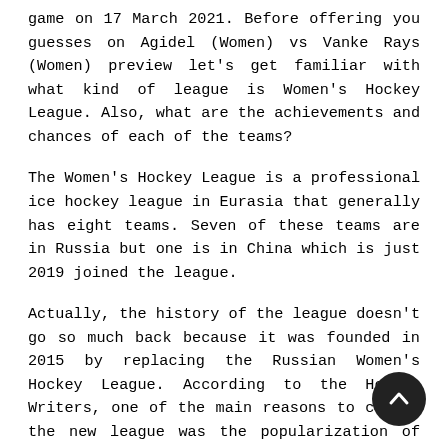game on 17 March 2021. Before offering you guesses on Agidel (Women) vs Vanke Rays (Women) preview let's get familiar with what kind of league is Women's Hockey League. Also, what are the achievements and chances of each of the teams?
The Women's Hockey League is a professional ice hockey league in Eurasia that generally has eight teams. Seven of these teams are in Russia but one is in China which is just 2019 joined the league.
Actually, the history of the league doesn't go so much back because it was founded in 2015 by replacing the Russian Women's Hockey League. According to the Hockey Writers, one of the main reasons to create the new league was the popularization of women's hockey in the world. So, taking advantage of this, the Russian ice hockey teams expanded and got good benefits. As a